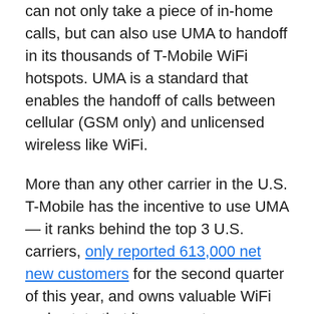can not only take a piece of in-home calls, but can also use UMA to handoff in its thousands of T-Mobile WiFi hotspots. UMA is a standard that enables the handoff of calls between cellular (GSM only) and unlicensed wireless like WiFi.
More than any other carrier in the U.S. T-Mobile has the incentive to use UMA — it ranks behind the top 3 U.S. carriers, only reported 613,000 net new customers for the second quarter of this year, and owns valuable WiFi real estate that it can use to grow those subscribers. The company would only confirm that UMA is one of the technologies that the company believes will help replace landline calls.
We're not sure when T-Mobile will target any of its UMA services beyond what seems like an initial in-home calling launch, but adding hotspot coverage could be its trump card.